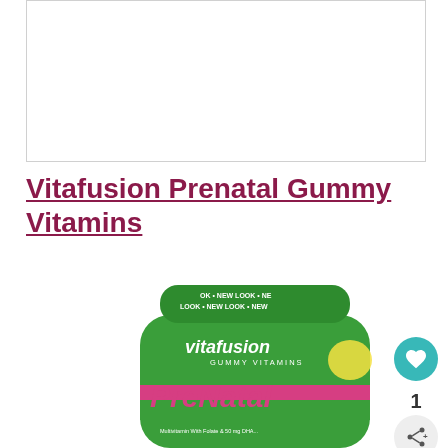[Figure (photo): White empty product image placeholder area with light border]
Vitafusion Prenatal Gummy Vitamins
[Figure (photo): Vitafusion PreNatal Gummy Vitamins bottle with green cap labeled NEW LOOK, green and pink bottle with vitafusion brand name and PreNatal text visible]
[Figure (other): Teal circular heart/favorite button icon]
1
[Figure (other): Gray circular share button icon]